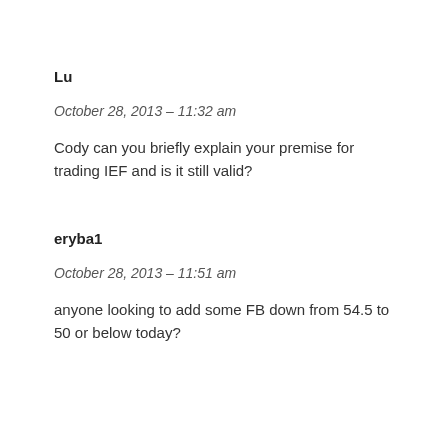Lu
October 28, 2013 – 11:32 am
Cody can you briefly explain your premise for trading IEF and is it still valid?
eryba1
October 28, 2013 – 11:51 am
anyone looking to add some FB down from 54.5 to 50 or below today?